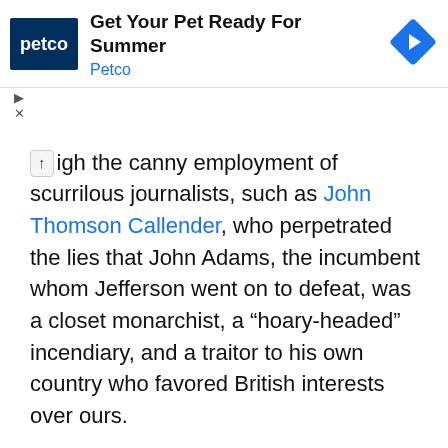[Figure (other): Petco advertisement banner showing Petco logo, text 'Get Your Pet Ready For Summer / Petco', and a blue diamond navigation arrow icon on the right.]
igh the canny employment of scurrilous journalists, such as John Thomson Callender, who perpetrated the lies that John Adams, the incumbent whom Jefferson went on to defeat, was a closet monarchist, a “hoary-headed” incendiary, and a traitor to his own country who favored British interests over ours.
Similarly, Jefferson bankrolled Thomas Cooper who published a broadside claiming falsely that Adams had wrongfully interfered